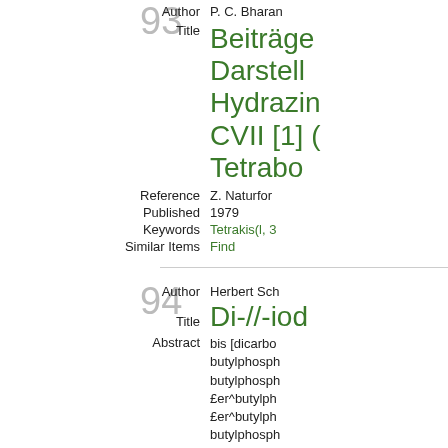93
Author: P. C. Bharan
Beiträge Darstellung Hydrazin CVII [1] Tetrabo
Reference: Z. Naturfor
Published: 1979
Keywords: Tetrakis(l, 3
Similar Items: Find
94
Author: Herbert Sch
Di-//-iod
Abstract: bis [dicarbo butylphosph butylphosph £er^butylph £er^butylph butylphosph
Reference: (Z. Naturfor